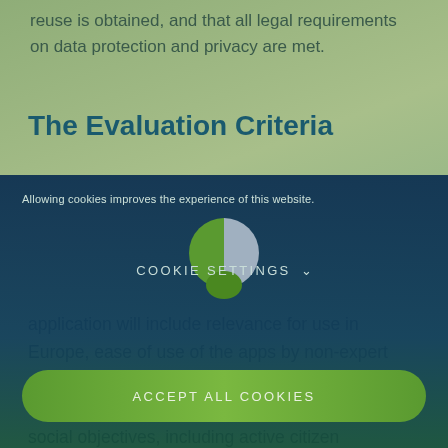reuse is obtained, and that all legal requirements on data protection and privacy are met.
The Evaluation Criteria
[Figure (screenshot): Cookie consent overlay with cookie settings toggle and Accept All Cookies button, featuring a green/dark blue semi-transparent panel with a half-green half-grey circle logo in the center.]
application will include relevance for use in Europe, ease of use of the apps by non-expert users, innovative characteristics of the proposed application, and contribution to environmental or social objectives, including active citizen